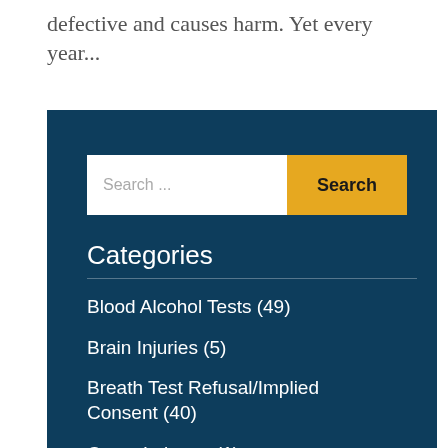defective and causes harm. Yet every year...
Categories
Blood Alcohol Tests (49)
Brain Injuries (5)
Breath Test Refusal/Implied Consent (40)
Camp Lejeune (1)
Criminal Defense (22)